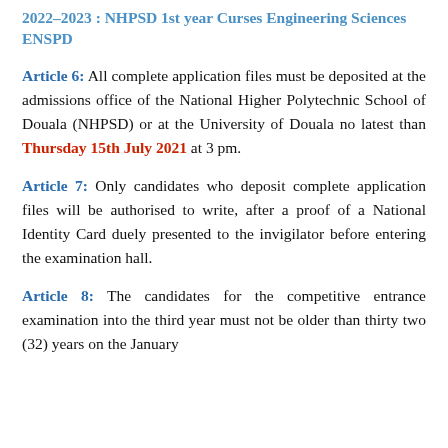2022-2023 : NHPSD 1st year Curses Engineering Sciences ENSPD
Article 6: All complete application files must be deposited at the admissions office of the National Higher Polytechnic School of Douala (NHPSD) or at the University of Douala no latest than Thursday 15th July 2021 at 3 pm.
Article 7: Only candidates who deposit complete application files will be authorised to write, after a proof of a National Identity Card duely presented to the invigilator before entering the examination hall.
Article 8: The candidates for the competitive entrance examination into the third year must not be older than thirty two (32) years on the January